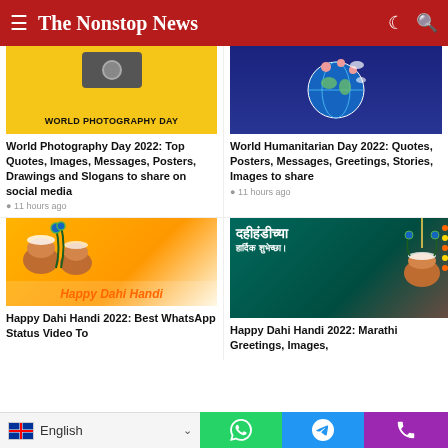The Nonstop News
[Figure (photo): World Photography Day banner with yellow background and bold text]
World Photography Day 2022: Top Quotes, Images, Messages, Posters, Drawings and Slogans to share on social media
11 hours ago
[Figure (photo): World Humanitarian Day 2022 banner with globe and balloons on dark blue background]
World Humanitarian Day 2022: Quotes, Posters, Messages, Greetings, Stories, Images to share
11 hours ago
[Figure (photo): Happy Dahi Handi festival image with clay pots and peacock feathers on orange background]
Happy Dahi Handi 2022: Best WhatsApp Status Video To
[Figure (photo): Dahi Handi 2022 Marathi greetings card with hanging pot on dark teal background]
Happy Dahi Handi 2022: Marathi Greetings, Images,
English